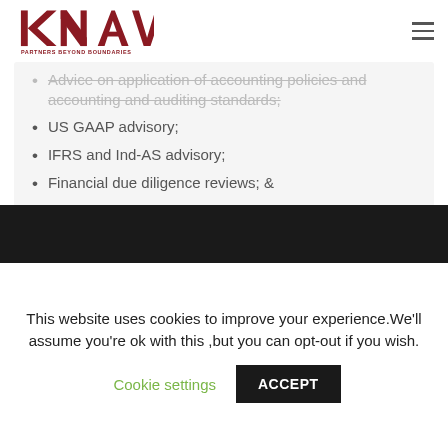KNAV — PARTNERS BEYOND BOUNDARIES
Advice on application of accounting policies and accounting and auditing standards;
US GAAP advisory;
IFRS and Ind-AS advisory;
Financial due diligence reviews; &
Financial reporting;
This website uses cookies to improve your experience.We'll assume you're ok with this ,but you can opt-out if you wish. Cookie settings ACCEPT